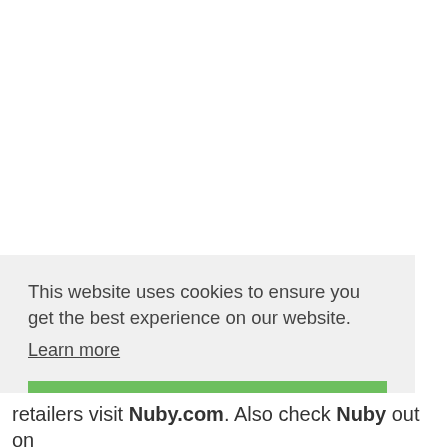This website uses cookies to ensure you get the best experience on our website.
Learn more
Got it!
retailers visit Nuby.com. Also check Nuby out on